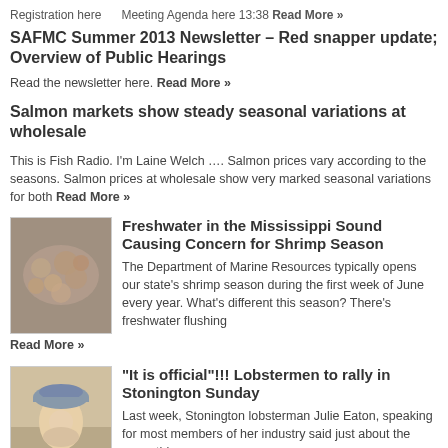Registration here    Meeting Agenda here 13:38 Read More »
SAFMC Summer 2013 Newsletter – Red snapper update; Overview of Public Hearings
Read the newsletter here. Read More »
Salmon markets show steady seasonal variations at wholesale
This is Fish Radio. I'm Laine Welch …. Salmon prices vary according to the seasons. Salmon prices at wholesale show very marked seasonal variations for both Read More »
[Figure (photo): Pile of shrimp or seafood]
Freshwater in the Mississippi Sound Causing Concern for Shrimp Season
The Department of Marine Resources typically opens our state's shrimp season during the first week of June every year. What's different this season? There's freshwater flushing Read More »
[Figure (photo): Person in hat, lobsterman]
"It is official"!!! Lobstermen to rally in Stonington Sunday
Last week, Stonington lobsterman Julie Eaton, speaking for most members of her industry said just about the same thing